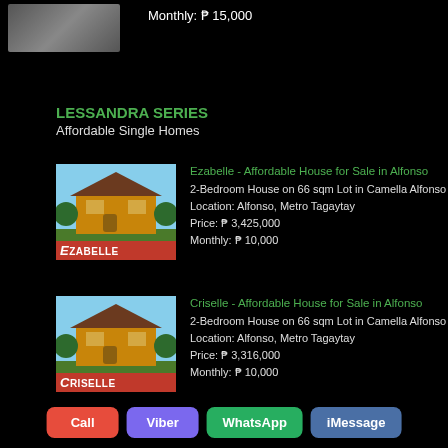Monthly: ₱ 15,000
LESSANDRA SERIES
Affordable Single Homes
[Figure (photo): Photo of Ezabelle house model - two-storey orange painted house with trees]
Ezabelle - Affordable House for Sale in Alfonso
2-Bedroom House on 66 sqm Lot in Camella Alfonso
Location: Alfonso, Metro Tagaytay
Price: ₱ 3,425,000
Monthly: ₱ 10,000
[Figure (photo): Photo of Criselle house model - two-storey orange painted house with trees]
Criselle - Affordable House for Sale in Alfonso
2-Bedroom House on 66 sqm Lot in Camella Alfonso
Location: Alfonso, Metro Tagaytay
Price: ₱ 3,316,000
Monthly: ₱ 10,000